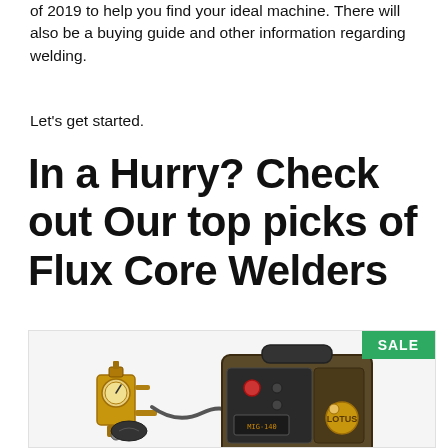of 2019 to help you find your ideal machine. There will also be a buying guide and other information regarding welding.
Let’s get started.
In a Hurry? Check out Our top picks of Flux Core Welders
[Figure (photo): Product photo of a flux core welder machine (Lotus brand) with a brass regulator/gauge accessory, shown with a green SALE badge in the top-right corner of the image box.]